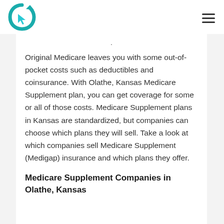[Logo] Medicare Supplement Companies in Olathe, Kansas — site header with navigation menu icon
Original Medicare leaves you with some out-of-pocket costs such as deductibles and coinsurance. With Olathe, Kansas Medicare Supplement plan, you can get coverage for some or all of those costs. Medicare Supplement plans in Kansas are standardized, but companies can choose which plans they will sell. Take a look at which companies sell Medicare Supplement (Medigap) insurance and which plans they offer.
Medicare Supplement Companies in Olathe, Kansas